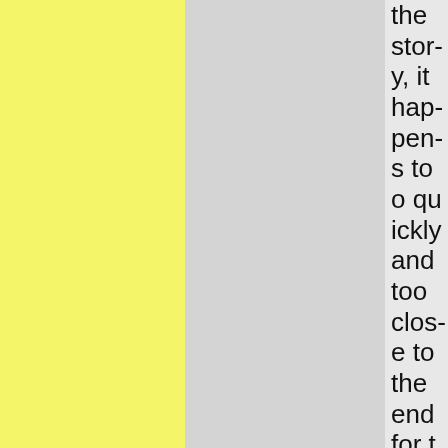[Figure (other): Yellow textured/paper background panel on the left side of the page]
[Figure (other): Gray background panel in the center of the page]
the story, it happens too quickly and too close to the end for that. I was feeling the stor